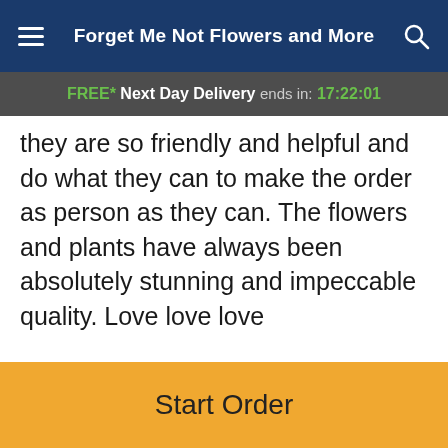Forget Me Not Flowers and More
FREE* Next Day Delivery ends in: 17:22:01
they are so friendly and helpful and do what they can to make the order as person as they can. The flowers and plants have always been absolutely stunning and impeccable quality. Love love love
Reviews Sourced from Lovingly
You May Also Like
[Figure (photo): Flower arrangement photos in a 'You May Also Like' section]
Start Order